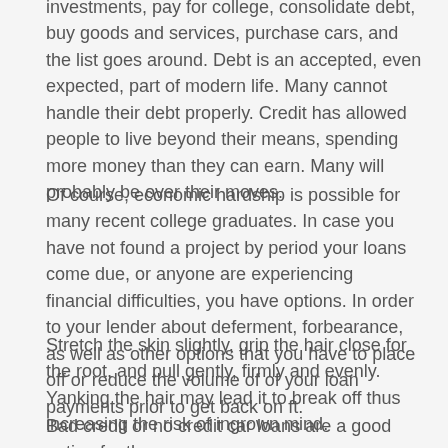investments, pay for college, consolidate debt, buy goods and services, purchase cars, and the list goes around. Debt is an accepted, even expected, part of modern life. Many cannot handle their debt properly. Credit has allowed people to live beyond their means, spending more money than they can earn. Many will probably be over their moves.
Of course, economic hardship is possible for many recent college graduates. In case you have not found a project by period your loans come due, or anyone are experiencing financial difficulties, you have options. In order to your lender about deferment, forbearance, as well as other options that you have to place off or reduce the volume of of your loan payments prior to get back on ft.
Stretch the skin slightly, grip the hair close for the root, and pull gently, firmly and evenly. Yanking the hair may lead it to break off thus increasing the risk of ingrown mind.
Bad credit or no credit car loans are a good option for those